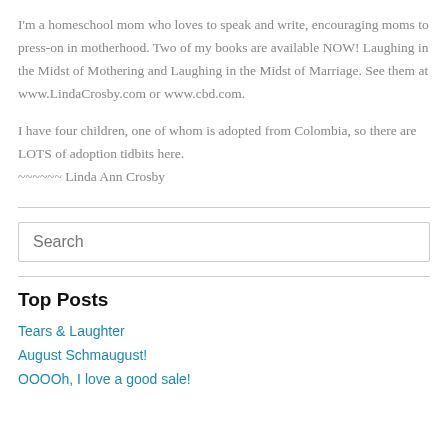I'm a homeschool mom who loves to speak and write, encouraging moms to press-on in motherhood. Two of my books are available NOW! Laughing in the Midst of Mothering and Laughing in the Midst of Marriage. See them at www.LindaCrosby.com or www.cbd.com.

I have four children, one of whom is adopted from Colombia, so there are LOTS of adoption tidbits here.
~~~~~~ Linda Ann Crosby
Top Posts
Tears & Laughter
August Schmaugust!
OOOOh, I love a good sale!